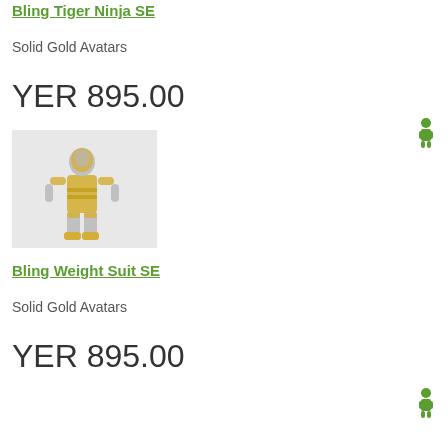Bling Tiger Ninja SE
Solid Gold Avatars
YER 895.00
[Figure (photo): Gold and white action figure avatar - Bling Weight Suit SE character standing pose]
Bling Weight Suit SE
Solid Gold Avatars
YER 895.00